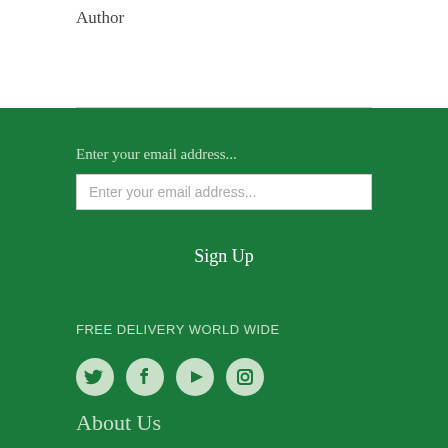Author
Enter your email address...
Enter your email address...
Sign Up
FREE DELIVERY WORLD WIDE
[Figure (illustration): Four circular social media icons: Twitter, Facebook, Play/Video, Instagram]
About Us
Our Guarantee
How it Works